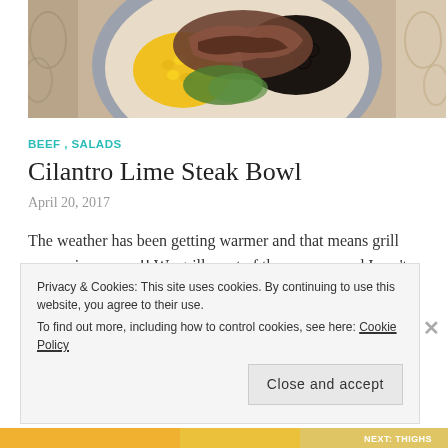[Figure (photo): Overhead photo of a bowl containing corn, grilled steak, black beans, and greens on a patterned tablecloth]
BEEF , SALADS
Cilantro Lime Steak Bowl
April 20, 2017
The weather has been getting warmer and that means grill season is upon us!! We grill most of the summer and I can't wait to try new recipes this summer. Grilled meats,
Privacy & Cookies: This site uses cookies. By continuing to use this website, you agree to their use. To find out more, including how to control cookies, see here: Cookie Policy
Close and accept